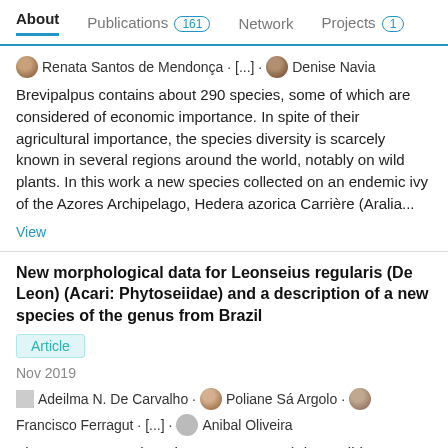About   Publications 161   Network   Projects 1
Renata Santos de Mendonça · [...] · Denise Navia
Brevipalpus contains about 290 species, some of which are considered of economic importance. In spite of their agricultural importance, the species diversity is scarcely known in several regions around the world, notably on wild plants. In this work a new species collected on an endemic ivy of the Azores Archipelago, Hedera azorica Carrière (Aralia...
View
New morphological data for Leonseius regularis (De Leon) (Acari: Phytoseiidae) and a description of a new species of the genus from Brazil
Article
Nov 2019
Adeilma N. De Carvalho · Poliane Sá Argolo · Francisco Ferragut · [...] · Anibal Oliveira
The genus Leonseius Chant & McMurtry (Phytoseiidae: Typhlodrominae) was proposed to accommodate